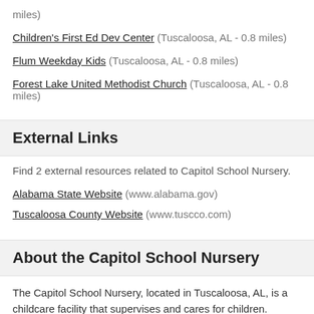Children's First Ed Dev Center (Tuscaloosa, AL - 0.8 miles)
Flum Weekday Kids (Tuscaloosa, AL - 0.8 miles)
Forest Lake United Methodist Church (Tuscaloosa, AL - 0.8 miles)
External Links
Find 2 external resources related to Capitol School Nursery.
Alabama State Website (www.alabama.gov)
Tuscaloosa County Website (www.tuscco.com)
About the Capitol School Nursery
The Capitol School Nursery, located in Tuscaloosa, AL, is a childcare facility that supervises and cares for children. Daycare services support parents and guardians by caring for children too